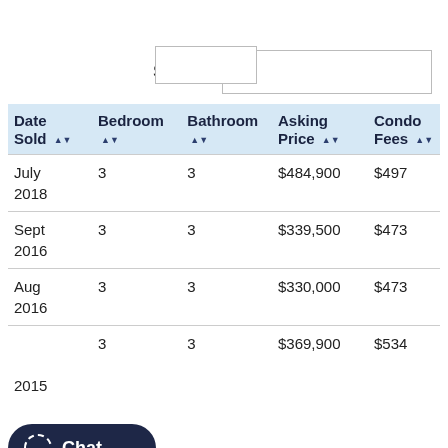| Date Sold | Bedroom | Bathroom | Asking Price | Condo Fees |
| --- | --- | --- | --- | --- |
| July 2018 | 3 | 3 | $484,900 | $497 |
| Sept 2016 | 3 | 3 | $339,500 | $473 |
| Aug 2016 | 3 | 3 | $330,000 | $473 |
| [?] 2015 | 3 | 3 | $369,900 | $534 |